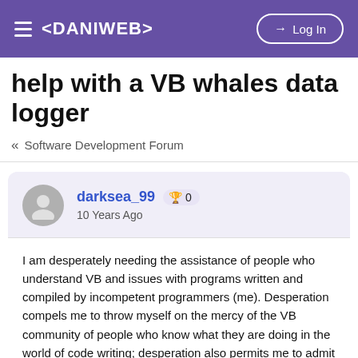< DANIWEB >   Log In
help with a VB whales data logger
« Software Development Forum
darksea_99  🏆 0
10 Years Ago
I am desperately needing the assistance of people who understand VB and issues with programs written and compiled by incompetent programmers (me). Desperation compels me to throw myself on the mercy of the VB community of people who know what they are doing in the world of code writing; desperation also permits me to admit my incompetency.
Here is the story: I direct a field study of right whales, one